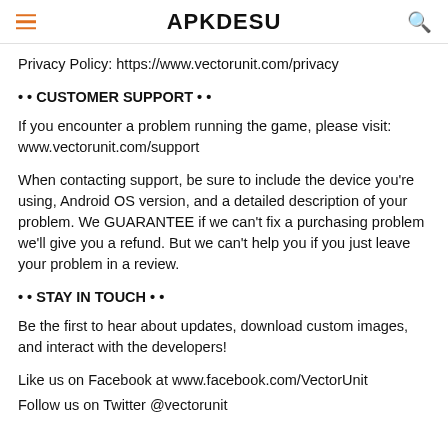APKDESU
Privacy Policy: https://www.vectorunit.com/privacy
• • CUSTOMER SUPPORT • •
If you encounter a problem running the game, please visit: www.vectorunit.com/support
When contacting support, be sure to include the device you're using, Android OS version, and a detailed description of your problem. We GUARANTEE if we can't fix a purchasing problem we'll give you a refund. But we can't help you if you just leave your problem in a review.
• • STAY IN TOUCH • •
Be the first to hear about updates, download custom images, and interact with the developers!
Like us on Facebook at www.facebook.com/VectorUnit
Follow us on Twitter @vectorunit